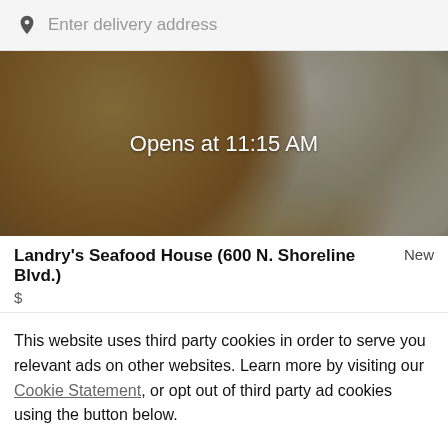Enter delivery address
[Figure (photo): Overhead photo of seafood dishes on a dark table. Overlay text reads: Opens at 11:15 AM]
Landry's Seafood House (600 N. Shoreline Blvd.)
New
$
This website uses third party cookies in order to serve you relevant ads on other websites. Learn more by visiting our Cookie Statement, or opt out of third party ad cookies using the button below.
OPT OUT
GOT IT